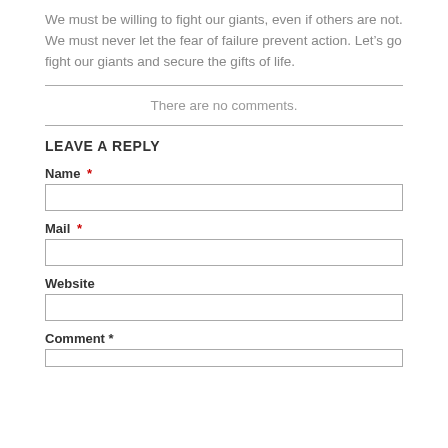We must be willing to fight our giants, even if others are not. We must never let the fear of failure prevent action. Let’s go fight our giants and secure the gifts of life.
There are no comments.
LEAVE A REPLY
Name *
Mail *
Website
Comment *